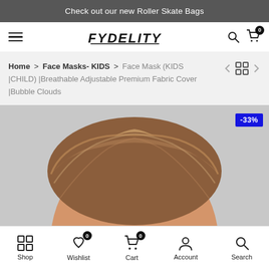Check out our new Roller Skate Bags
[Figure (logo): FYDELITY logo in bold italic stylized font with hamburger menu, search icon, and cart icon with badge 0]
Home > Face Masks- KIDS > Face Mask (KIDS |CHILD) |Breathable Adjustable Premium Fabric Cover |Bubble Clouds
[Figure (photo): Product photo showing the top of a child's head with brown hair, discount badge -33% in blue in top right corner]
Shop | Wishlist | Cart | Account | Search